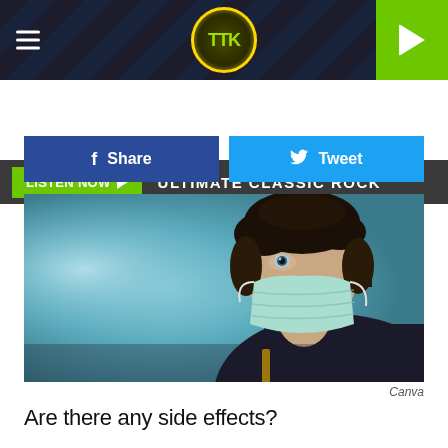[Figure (screenshot): Website header with dark textured background, hamburger menu icon on left, circular TTK radio station logo in center with gold border, and green play button on right]
LISTEN NOW ▶ ULTIMATE CLASSIC ROCK
[Figure (other): Facebook Share button (dark blue) and Twitter Tweet button (light blue) side by side]
[Figure (photo): A man wearing a light blue/green surgical face mask, looking upward to the right, with dark curly hair and stubble beard, wearing a dark jacket with yellow accents, against a blurred blue background]
Canva
Are there any side effects?